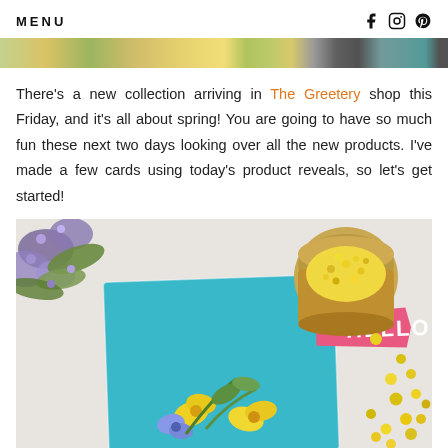MENU
[Figure (photo): Horizontal image strip showing crafting supplies and flowers at top of page]
There's a new collection arriving in The Greetery shop this Friday, and it's all about spring! You are going to have so much fun these next two days looking over all the new products. I've made a few cards using today's product reveals, so let's get started!
[Figure (photo): A teal greeting card with 'HELLO' text on a pink banner, decorated with yellow and blue spring flowers. Beside the card is an open jar of yellow rhinestones/pearls and scattered yellow pearls, with purple flowers in the background.]